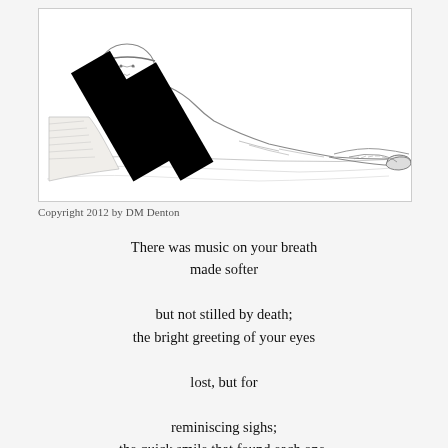[Figure (illustration): Pencil sketch of a reclining bearded man wearing a headband and layered clothing, lying on a blanket or mat, with dark black diagonal stripes overlaid across his torso.]
Copyright 2012 by DM Denton
There was music on your breath
made softer
but not stilled by death;
the bright greeting of your eyes
lost, but for
reminiscing sighs;
the quick smile that found each one,